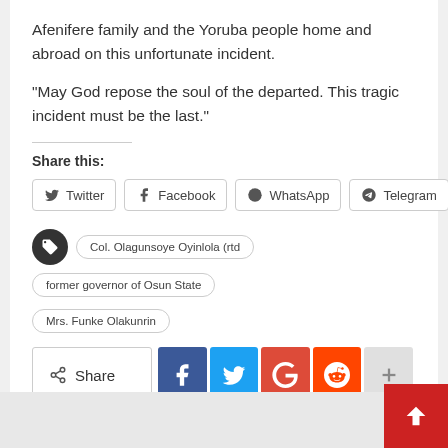Afenifere family and the Yoruba people home and abroad on this unfortunate incident.
“May God repose the soul of the departed. This tragic incident must be the last.”
Share this:
[Figure (screenshot): Social share buttons: Twitter, Facebook, WhatsApp, Telegram]
[Figure (screenshot): Tag pills: Col. Olagunsoye Oyinlola (rtd), former governor of Osun State, Mrs. Funke Olakunrin]
[Figure (screenshot): Share buttons row: Share, Facebook, Twitter, Google+, Reddit, plus]